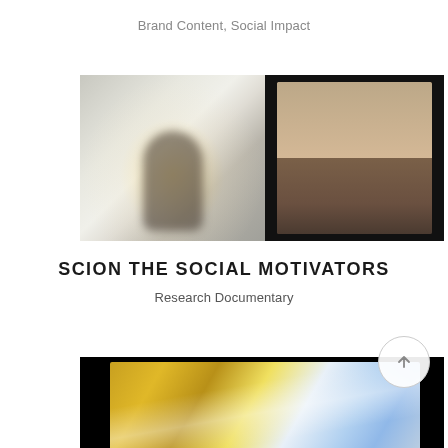Brand Content, Social Impact
[Figure (photo): Two side-by-side video stills: left shows a silhouetted figure in a bright, hazy white room; right shows a man with dark hair gesturing with his hands against a dark background.]
SCION THE SOCIAL MOTIVATORS
Research Documentary
[Figure (photo): Partial view of a video still showing the bottom portion of a tall building with gold/yellow grid facade against a bright sky.]